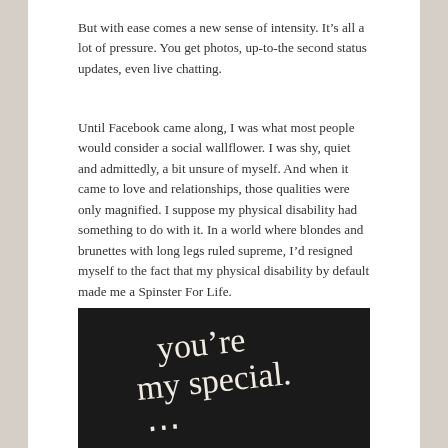But with ease comes a new sense of intensity. It's all a lot of pressure. You get photos, up-to-the second status updates, even live chatting.
Until Facebook came along, I was what most people would consider a social wallflower. I was shy, quiet and admittedly, a bit unsure of myself. And when it came to love and relationships, those qualities were only magnified. I suppose my physical disability had something to do with it. In a world where blondes and brunettes with long legs ruled supreme, I'd resigned myself to the fact that my physical disability by default made me a Spinster For Life.
[Figure (photo): Dark/black background with white handwritten cursive text reading 'you're my special...' (partially visible)]